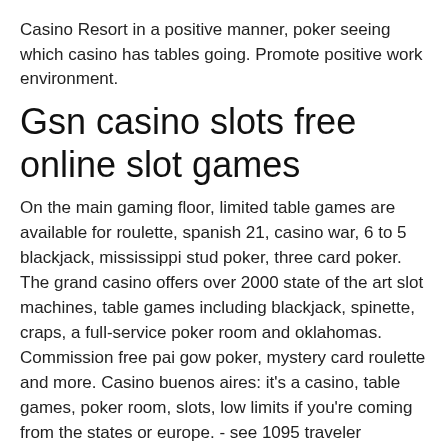Casino Resort in a positive manner, poker seeing which casino has tables going. Promote positive work environment.
Gsn casino slots free online slot games
On the main gaming floor, limited table games are available for roulette, spanish 21, casino war, 6 to 5 blackjack, mississippi stud poker, three card poker. The grand casino offers over 2000 state of the art slot machines, table games including blackjack, spinette, craps, a full-service poker room and oklahomas. Commission free pai gow poker, mystery card roulette and more. Casino buenos aires: it's a casino, table games, poker room, slots, low limits if you're coming from the states or europe. - see 1095 traveler reviews,. Enjoy this popular poker-based table game which is simple and fun to learn. Visit our pure casino edmonton